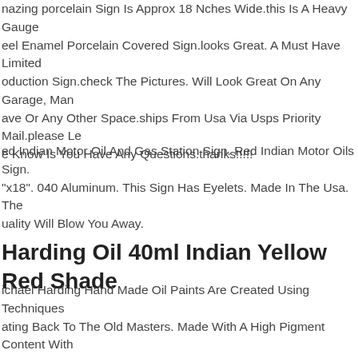nazing porcelain Sign Is Approx 18 Nches Wide.this Is A Heavy Gauge eel Enamel Porcelain Covered Sign.looks Great. A Must Have Limited oduction Sign.check The Pictures. Will Look Great On Any Garage, Man ave Or Any Other Space.ships From Usa Via Usps Priority Mail.please Le e Know Is You Have Any Questions.thanks!!!!!
ed Indian Motor Oil And Gas Station Sign. Red Indian Motor Oils Sign. "x18". 040 Aluminum. This Sign Has Eyelets. Made In The Usa. The uality Will Blow You Away.
Harding Oil 40ml Indian Yellow Red Shade
ichael Harding Hand Made Oil Paints Are Created Using Techniques ating Back To The Old Masters. Made With A High Pigment Content With o Added Fillers, Extenders Or Driers. The Result Is A Paint With Excellent ightfastness, With A Creamy Consistency That Is Easy To Handle And anipulate This Is A 40ml Tube Of Michael Harding Artist Oil Colour In India llow Red Shade.
iginal 3 Inch Red Indian Mccoll Frontenac Canadian Oil & Gas .